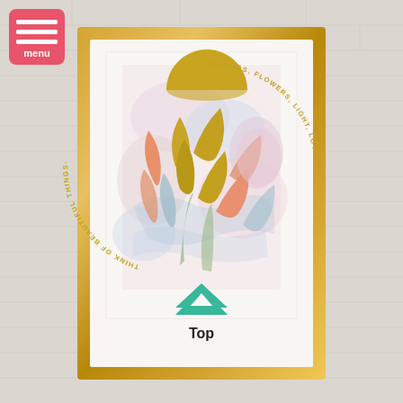[Figure (illustration): A website or app screenshot showing a decorative framed art print mounted on a white brick wall. The frame is gold/brass colored. Inside the frame is a white mat with a pastel-colored botanical illustration featuring leaves and a sun/semicircle, with text arranged in an arc reading 'THINK OF BEAUTIFUL THINGS. COLOURS, FLOWERS, LIGHT, LOVE.' Below the artwork within the frame is a teal/mint chevron (upward arrow) with the word 'Top' in bold beneath it. In the top-left corner is a red/coral menu button with three horizontal lines and the word 'menu'.]